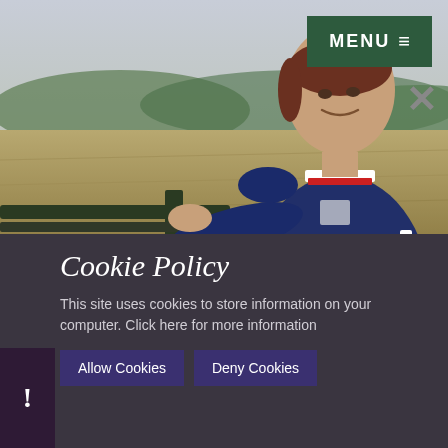[Figure (photo): A woman in a navy blue polo shirt with red/white trim, standing next to a wooden fence post in a rural field setting with rolling hills and overcast sky in the background.]
MENU ≡
Cookie Policy
This site uses cookies to store information on your computer. Click here for more information
Allow Cookies
Deny Cookies